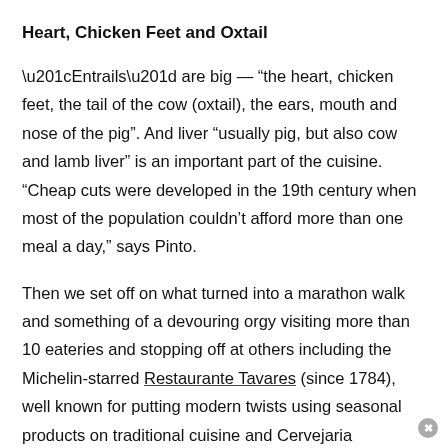Heart, Chicken Feet and Oxtail
“Entrails” are big — “the heart, chicken feet, the tail of the cow (oxtail), the ears, mouth and nose of the pig”. And liver “usually pig, but also cow and lamb liver” is an important part of the cuisine. “Cheap cuts were developed in the 19th century when most of the population couldn’t afford more than one meal a day,” says Pinto.
Then we set off on what turned into a marathon walk and something of a devouring orgy visiting more than 10 eateries and stopping off at others including the Michelin-starred Restaurante Tavares (since 1784), well known for putting modern twists using seasonal products on traditional cuisine and Cervejaria Trindade (since 1836).